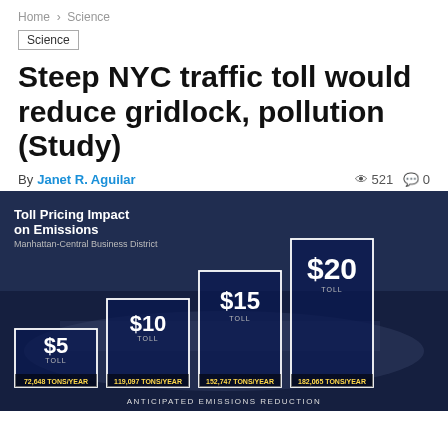Home > Science
Science
Steep NYC traffic toll would reduce gridlock, pollution (Study)
By Janet R. Aguilar   👁 521  💬 0
[Figure (bar-chart): Toll Pricing Impact on Emissions — Manhattan-Central Business District]